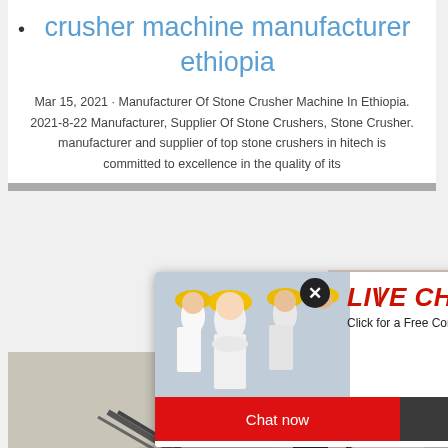crusher machine manufacturer ethiopia
Mar 15, 2021 · Manufacturer Of Stone Crusher Machine In Ethiopia. 2021-8-22 Manufacturer, Supplier Of Stone Crushers, Stone Crusher. manufacturer and supplier of top stone crushers in hitech is committed to excellence in the quality of its
[Figure (photo): Live chat popup with workers in yellow hard hats on left, red LIVE CHAT text, Click for a Free Consultation text, Chat now (red) and Chat later (dark) buttons]
[Figure (photo): Woman with headset on right side, partially visible]
[Figure (photo): Aerial view of mining/crusher site with machinery and gravel piles]
ave any requests, click here.
Quotation
Enquiry
limingjlmofen@sina.com